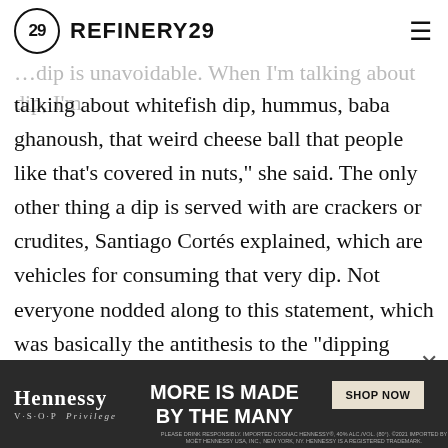REFINERY29
talking about whitefish dip, hummus, baba ghanoush, that weird cheese ball that people like that's covered in nuts," she said. The only other thing a dip is served with are crackers or crudites, Santiago Cortés explained, which are vehicles for consuming that very dip. Not everyone nodded along to this statement, which was basically the antithesis to the "dipping makes a dip" theory, but many seemed to be buying in.
ADVERTISEMENT
[Figure (infographic): Hennessy VSOP advertisement banner: MORE IS MADE BY THE MANY with SHOP NOW button]